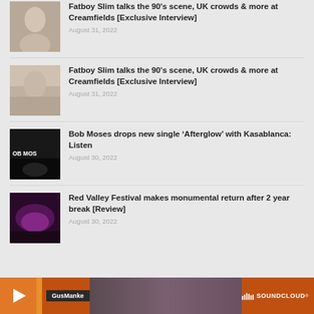Fatboy Slim talks the 90's scene, UK crowds & more at Creamfields [Exclusive Interview]
August 31, 2022
Fatboy Slim talks the 90's scene, UK crowds & more at Creamfields [Exclusive Interview]
August 31, 2022
Bob Moses drops new single ‘Afterglow’ with Kasablanca: Listen
August 30, 2022
Red Valley Festival makes monumental return after 2 year break [Review]
August 30, 2022
[Figure (screenshot): SoundCloud player bar at bottom with GusManke label and SoundCloud logo]